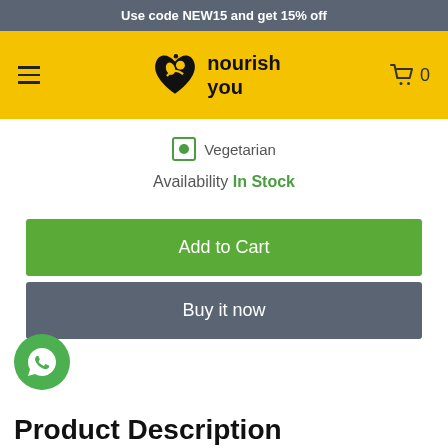Use code NEW15 and get 15% off
[Figure (logo): Nourish You logo with heart/leaf graphic on yellow header background]
Vegetarian
Availability In Stock
Add to Cart
Buy it now
[Figure (illustration): WhatsApp floating chat button (green circle with phone/chat icon)]
Product Description